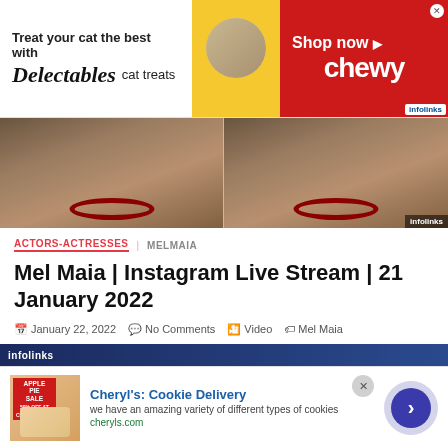[Figure (infographic): Advertisement banner: 'Treat your cat the best with Delectables cat treats' with Chewy 'Shop now' red section and infolinks badge]
[Figure (photo): Food image strip showing two panels of what appears to be pasta/noodles dishes on plates with dark red borders]
ACTORS-ACTRESSES  MELMAIA
Mel Maia | Instagram Live Stream | 21 January 2022
January 22, 2022  No Comments  Video  Mel Maia
Melissa Mel Maia's Instagram Live Stream from January 21th 2022.
View More »
[Figure (infographic): Infolinks advertisement bar at bottom with Cheryl's Cookie Delivery ad: title, description 'we have an amazing variety of different types of cookies', URL cheryls.com, close button and navigation arrow]